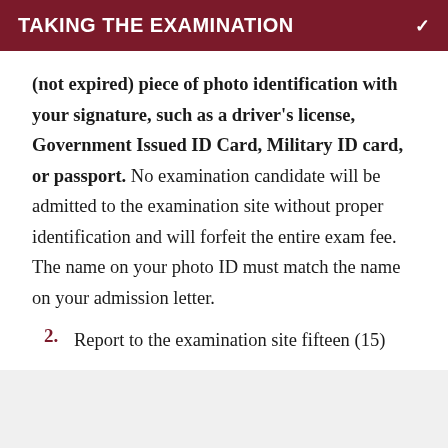TAKING THE EXAMINATION
(not expired) piece of photo identification with your signature, such as a driver's license, Government Issued ID Card, Military ID card, or passport. No examination candidate will be admitted to the examination site without proper identification and will forfeit the entire exam fee. The name on your photo ID must match the name on your admission letter.
2. Report to the examination site fifteen (15)